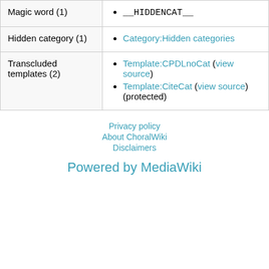|  |  |
| --- | --- |
| Magic word (1) | __HIDDENCAT__ |
| Hidden category (1) | Category:Hidden categories |
| Transcluded templates (2) | Template:CPDLnoCat (view source)
Template:CiteCat (view source) (protected) |
Privacy policy
About ChoralWiki
Disclaimers
Powered by MediaWiki